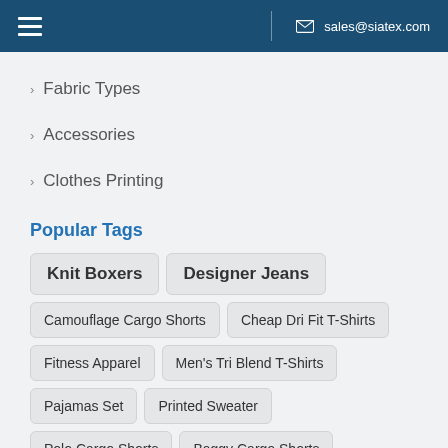sales@siatex.com
Fabric Types
Accessories
Clothes Printing
Popular Tags
Knit Boxers
Designer Jeans
Camouflage Cargo Shorts
Cheap Dri Fit T-Shirts
Fitness Apparel
Men's Tri Blend T-Shirts
Pajamas Set
Printed Sweater
Polo Cargo Shorts
Baggy Cargo Shorts